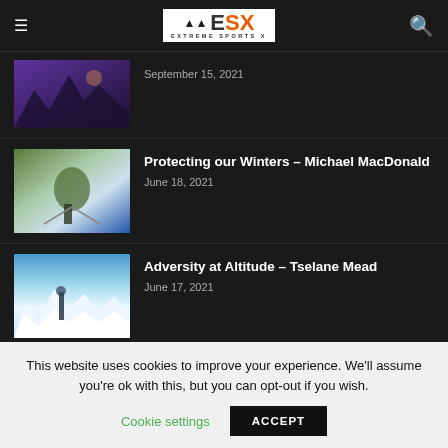ESX Extreme Sports X
September 15, 2021
Protecting our Winters – Michael MacDonald
June 18, 2021
Adversity at Altitude – Tselane Mead
June 17, 2021
This website uses cookies to improve your experience. We'll assume you're ok with this, but you can opt-out if you wish.
Cookie settings
ACCEPT